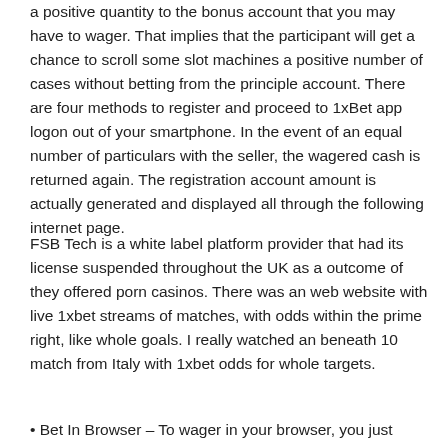a positive quantity to the bonus account that you may have to wager. That implies that the participant will get a chance to scroll some slot machines a positive number of cases without betting from the principle account. There are four methods to register and proceed to 1xBet app logon out of your smartphone. In the event of an equal number of particulars with the seller, the wagered cash is returned again. The registration account amount is actually generated and displayed all through the following internet page.
FSB Tech is a white label platform provider that had its license suspended throughout the UK as a outcome of they offered porn casinos. There was an web website with live 1xbet streams of matches, with odds within the prime right, like whole goals. I really watched an beneath 10 match from Italy with 1xbet odds for whole targets.
• Bet In Browser – To wager in your browser, you just